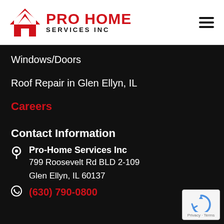[Figure (logo): Pro Home Services Inc logo with red house/arrow icon and company name in red and black text]
Windows/Doors
Roof Repair in Glen Ellyn, IL
Careers
Contact Information
Pro-Home Services Inc
799 Roosevelt Rd BLD 2-109
Glen Ellyn, IL 60137
(630) 790-0800